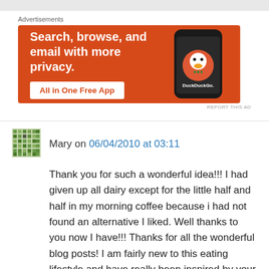[Figure (screenshot): DuckDuckGo advertisement banner with orange background showing 'Search, browse, and email with more privacy. All in One Free App' with a phone image and DuckDuckGo logo]
Advertisements
Mary on 06/04/2010 at 03:11
Thank you for such a wonderful idea!!! I had given up all dairy except for the little half and half in my morning coffee because i had not found an alternative I liked. Well thanks to you now I have!!! Thanks for all the wonderful blog posts! I am fairly new to this eating lifestyle and have really been inspired by your blog.
M...